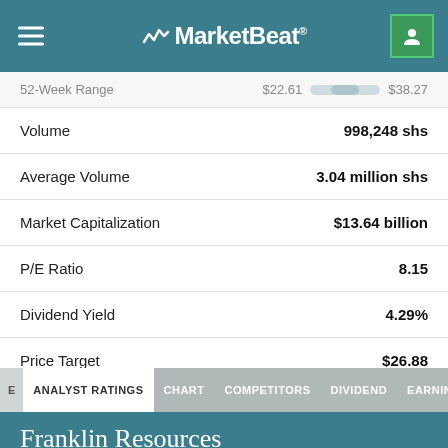MarketBeat
| Metric | Value |
| --- | --- |
| 52-Week Range | $22.61 — $38.27 |
| Volume | 998,248 shs |
| Average Volume | 3.04 million shs |
| Market Capitalization | $13.64 billion |
| P/E Ratio | 8.15 |
| Dividend Yield | 4.29% |
| Price Target | $26.88 |
ANALYST RATINGS  CHART  COMPETITORS  DIVIDEND  EARNINGS  FINAN
Franklin Resources